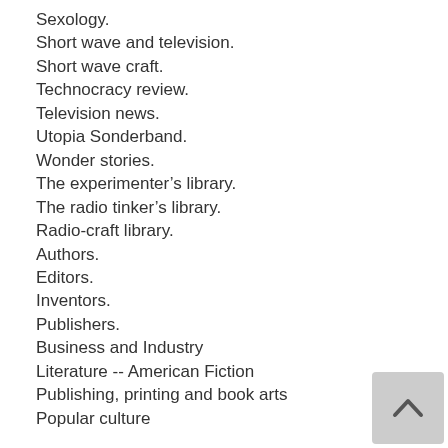Sexology.
Short wave and television.
Short wave craft.
Technocracy review.
Television news.
Utopia Sonderband.
Wonder stories.
The experimenter's library.
The radio tinker's library.
Radio-craft library.
Authors.
Editors.
Inventors.
Publishers.
Business and Industry
Literature -- American Fiction
Publishing, printing and book arts
Popular culture